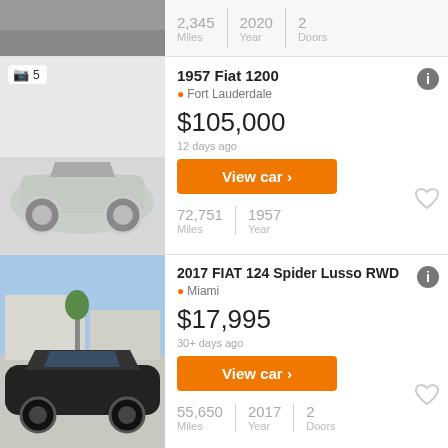2,345 Miles | 2020 Year | 2 Doors
1957 Fiat 1200
Fort Lauderdale
$105,000
12 days ago
View car
72,751 Miles | 1957 Year
2017 FIAT 124 Spider Lusso RWD
Miami
$17,995
30+ days ago
View car
55,650 Miles | 2017 Year | 2 Doors
1982 Fiat Spider 2000 Turbo
$32,000